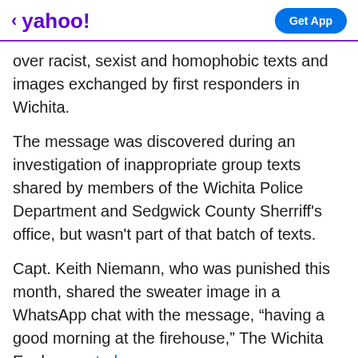< yahoo!  Get App
over racist, sexist and homophobic texts and images exchanged by first responders in Wichita.
The message was discovered during an investigation of inappropriate group texts shared by members of the Wichita Police Department and Sedgwick County Sherriff's office, but wasn't part of that batch of texts.
Capt. Keith Niemann, who was punished this month, shared the sweater image in a WhatsApp chat with the message, “having a good morning at the firehouse,” The Wichita Eagle reported.
Ad  Scroll to continue with content  ...
ober
Promoción de Ganancias
Promoción de ganancias disponible al